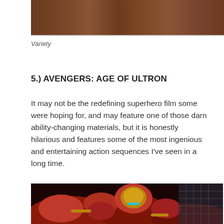[Figure (photo): Top portion of a movie still showing characters in brownish/reddish tones, cropped at top]
Variety
5.) AVENGERS: AGE OF ULTRON
It may not be the redefining superhero film some were hoping for, and may feature one of those darn ability-changing materials, but it is honestly hilarious and features some of the most ingenious and entertaining action sequences I've seen in a long time.
[Figure (photo): Close-up of the Hulkbuster Iron Man armor in red and gold, from Avengers: Age of Ultron]